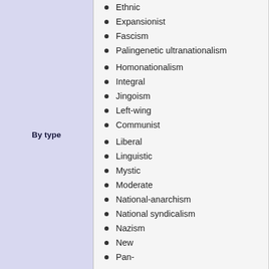By type
Ethnic
Expansionist
Fascism
Palingenetic ultranationalism
Homonationalism
Integral
Jingoism
Left-wing
Communist
Liberal
Linguistic
Mystic
Moderate
National-anarchism
National syndicalism
Nazism
New
Pan-